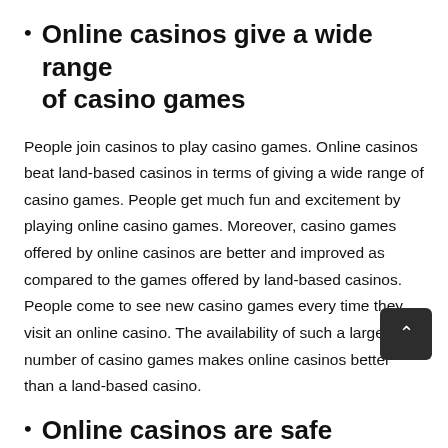Online casinos give a wide range of casino games
People join casinos to play casino games. Online casinos beat land-based casinos in terms of giving a wide range of casino games. People get much fun and excitement by playing online casino games. Moreover, casino games offered by online casinos are better and improved as compared to the games offered by land-based casinos. People come to see new casino games every time they visit an online casino. The availability of such a large number of casino games makes online casinos better than a land-based casino.
Online casinos are safe
The players are always worried and concerned about the safety